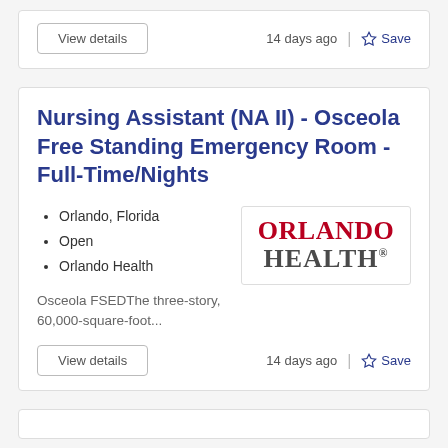View details   14 days ago   Save
Nursing Assistant (NA II) - Osceola Free Standing Emergency Room - Full-Time/Nights
Orlando, Florida
Open
Orlando Health
[Figure (logo): Orlando Health logo with ORLANDO in red and HEALTH in dark gray]
Osceola FSEDThe three-story, 60,000-square-foot...
View details   14 days ago   Save